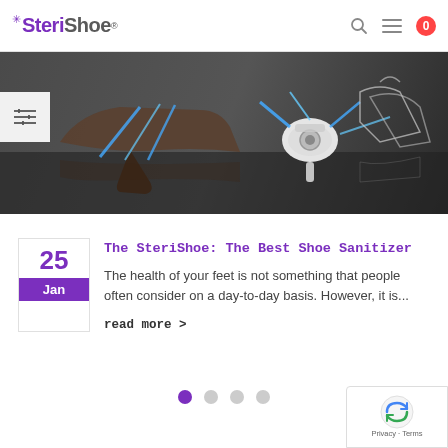SteriShoe
[Figure (photo): Hero banner showing high heels and a SteriShoe UV shoe sanitizer device with blue UV light glowing, placed on a reflective dark surface]
The SteriShoe: The Best Shoe Sanitizer
The health of your feet is not something that people often consider on a day-to-day basis. However, it is...
read more >
[Figure (other): Pagination dots: 4 dots with first one active (purple), rest grey]
[Figure (other): Google reCAPTCHA badge with Privacy and Terms links]